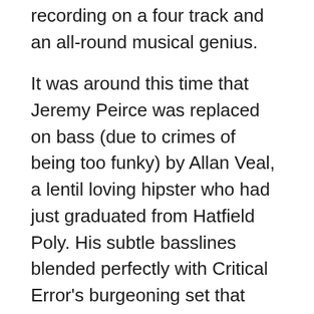recording on a four track and an all-round musical genius.
It was around this time that Jeremy Peirce was replaced on bass (due to crimes of being too funky) by Allan Veal, a lentil loving hipster who had just graduated from Hatfield Poly. His subtle basslines blended perfectly with Critical Error's burgeoning set that now comprised more original material than covers. The band returned to Paul's bedroom to record their first official demo, Wot! No Drums?!.
Unlike their first recording, the demo consisted of more original material: Sweet Warrior (Mavin / Mullin), a medieval style ditty inspired by a poem written by Rosie; The Instrumental (Whiteley /